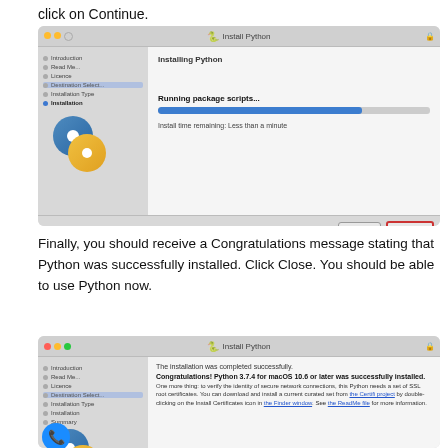click on Continue.
[Figure (screenshot): macOS Python installer window showing 'Installing Python' with a progress bar and 'Running package scripts...' text. Install time remaining: Less than a minute. Continue button highlighted with red border.]
Finally, you should receive a Congratulations message stating that Python was successfully installed. Click Close. You should be able to use Python now.
[Figure (screenshot): macOS Python installer showing 'The installation was completed successfully.' with Congratulations message for Python 3.7.4 for macOS 10.6 or later, and SSL certificates information.]